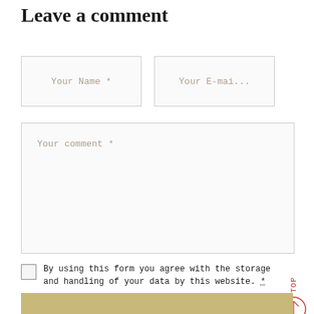Leave a comment
Your Name *
Your E-mai...
Your comment *
By using this form you agree with the storage and handling of your data by this website. *
Sign me up for the newsletter!